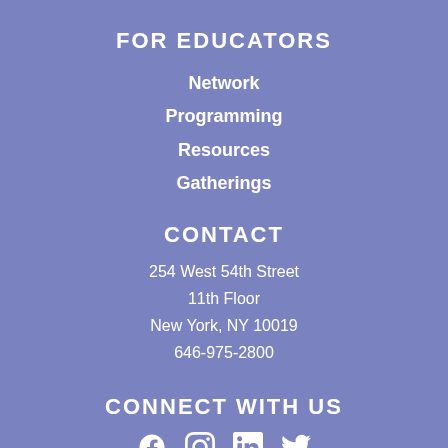FOR EDUCATORS
Network
Programming
Resources
Gatherings
CONTACT
254 West 54th Street
11th Floor
New York, NY 10019
646-975-2800
CONNECT WITH US
[Figure (infographic): Social media icons: Facebook, Instagram, LinkedIn, Twitter]